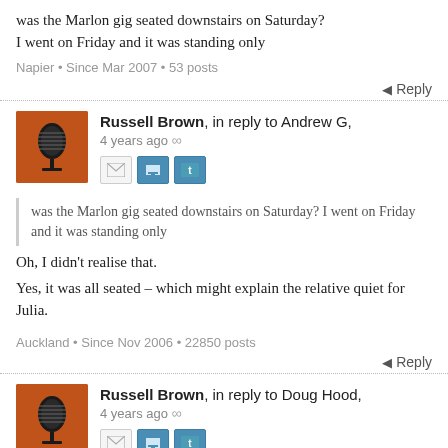was the Marlon gig seated downstairs on Saturday? I went on Friday and it was standing only
Napier • Since Mar 2007 • 53 posts
Reply
Russell Brown, in reply to Andrew G, 4 years ago
was the Marlon gig seated downstairs on Saturday? I went on Friday and it was standing only
Oh, I didn't realise that.
Yes, it was all seated – which might explain the relative quiet for Julia.
Auckland • Since Nov 2006 • 22850 posts
Reply
Russell Brown, in reply to Doug Hood, 4 years ago